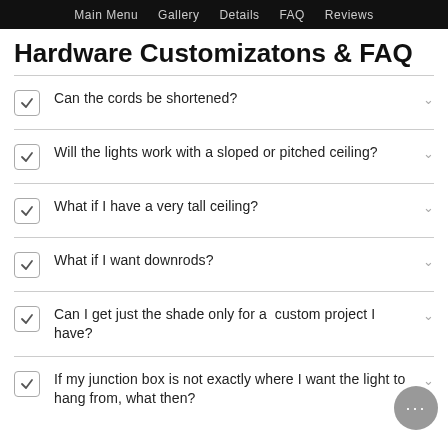Main Menu  Gallery  Details  FAQ  Reviews
Hardware Customizatons & FAQ
Can the cords be shortened?
Will the lights work with a sloped or pitched ceiling?
What if I have a very tall ceiling?
What if I want downrods?
Can I get just the shade only for a custom project I have?
If my junction box is not exactly where I want the light to hang from, what then?